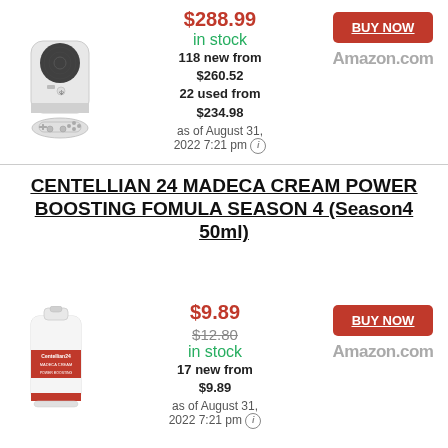[Figure (photo): Xbox Series S console and controller product image]
$288.99
in stock
118 new from $260.52
22 used from $234.98
as of August 31, 2022 7:21 pm
BUY NOW
Amazon.com
CENTELLIAN 24 MADECA CREAM POWER BOOSTING FOMULA SEASON 4 (Season4 50ml)
[Figure (photo): Centellian 24 Madeca Cream tube product image]
$9.89
$12.80
in stock
17 new from $9.89
as of August 31, 2022 7:21 pm
BUY NOW
Amazon.com